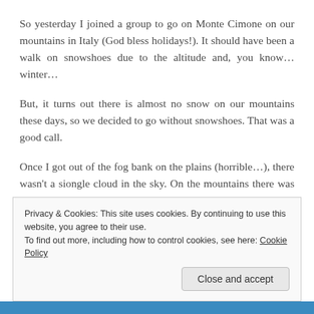So yesterday I joined a group to go on Monte Cimone on our mountains in Italy (God bless holidays!). It should have been a walk on snowshoes due to the altitude and, you know... winter...
But, it turns out there is almost no snow on our mountains these days, so we decided to go without snowshoes. That was a good call.
Once I got out of the fog bank on the plains (horrible...), there wasn't a siongle cloud in the sky. On the mountains there was almost no snow, and it was
Privacy & Cookies: This site uses cookies. By continuing to use this website, you agree to their use.
To find out more, including how to control cookies, see here: Cookie Policy